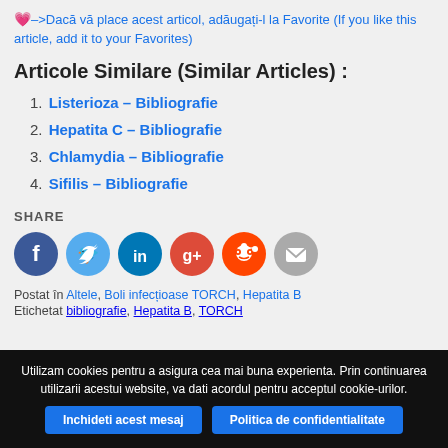💗–>Dacă vă place acest articol, adăugați-l la Favorite (If you like this article, add it to your Favorites)
Articole Similare (Similar Articles) :
1. Listerioza – Bibliografie
2. Hepatita C – Bibliografie
3. Chlamydia – Bibliografie
4. Sifilis – Bibliografie
SHARE
[Figure (infographic): Social share buttons: Facebook (dark blue), Twitter (light blue), LinkedIn (teal), Google+ (red), Reddit (orange), Email (gray)]
Postat în Altele, Boli infecțioase TORCH, Hepatita B
Etichetat bibliografie, Hepatita B, TORCH
Utilizam cookies pentru a asigura cea mai buna experienta. Prin continuarea utilizarii acestui website, va dati acordul pentru acceptul cookie-urilor.